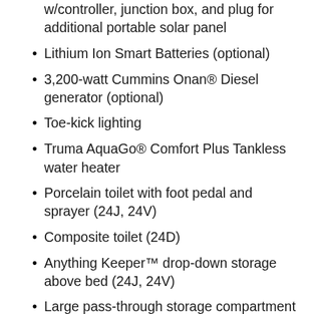w/controller, junction box, and plug for additional portable solar panel
Lithium Ion Smart Batteries (optional)
3,200-watt Cummins Onan® Diesel generator (optional)
Toe-kick lighting
Truma AquaGo® Comfort Plus Tankless water heater
Porcelain toilet with foot pedal and sprayer (24J, 24V)
Composite toilet (24D)
Anything Keeper™ drop-down storage above bed (24J, 24V)
Large pass-through storage compartment (24D, 24J)